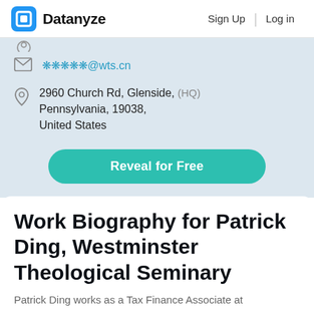Datanyze  Sign Up  Log in
❋❋❋❋❋@wts.cn
2960 Church Rd, Glenside, (HQ) Pennsylvania, 19038, United States
Reveal for Free
Work Biography for Patrick Ding, Westminster Theological Seminary
Patrick Ding works as a Tax Finance Associate at